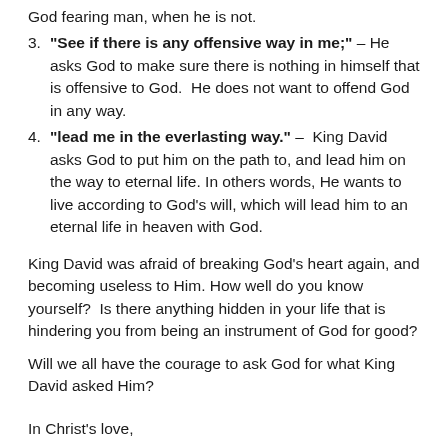God fearing man, when he is not.
"See if there is any offensive way in me;" – He asks God to make sure there is nothing in himself that is offensive to God.  He does not want to offend God in any way.
"lead me in the everlasting way." –  King David asks God to put him on the path to, and lead him on the way to eternal life. In others words, He wants to live according to God's will, which will lead him to an eternal life in heaven with God.
King David was afraid of breaking God's heart again, and becoming useless to Him. How well do you know yourself?  Is there anything hidden in your life that is hindering you from being an instrument of God for good?
Will we all have the courage to ask God for what King David asked Him?
In Christ's love,